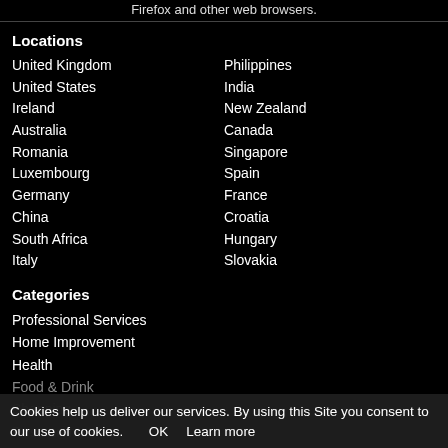Firefox and other web browsers.
Locations
United Kingdom
Philippines
United States
India
Ireland
New Zealand
Australia
Canada
Romania
Singapore
Luxembourg
Spain
Germany
France
China
Croatia
South Africa
Hungary
Italy
Slovakia
Categories
Professional Services
Home Improvement
Health
Food & Drink
Shopping
Restaurants
Finance & Insurance
Cookies help us deliver our services. By using this Site you consent to our use of cookies. OK Learn more